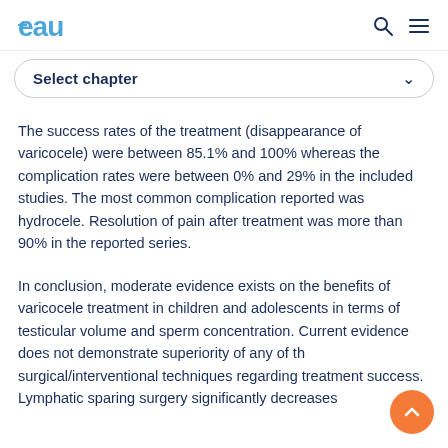EAU logo, search icon, menu icon
Select chapter
The success rates of the treatment (disappearance of varicocele) were between 85.1% and 100% whereas the complication rates were between 0% and 29% in the included studies. The most common complication reported was hydrocele. Resolution of pain after treatment was more than 90% in the reported series.
In conclusion, moderate evidence exists on the benefits of varicocele treatment in children and adolescents in terms of testicular volume and sperm concentration. Current evidence does not demonstrate superiority of any of the surgical/interventional techniques regarding treatment success. Lymphatic sparing surgery significantly decreases